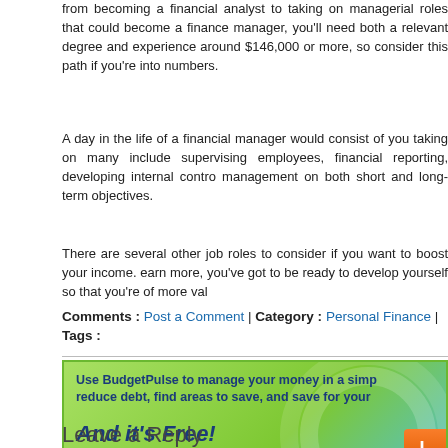from becoming a financial analyst to taking on managerial roles that could become a finance manager, you'll need both a relevant degree and experience around $146,000 or more, so consider this path if you're into numbers.
A day in the life of a financial manager would consist of you taking on many include supervising employees, financial reporting, developing internal contro management on both short and long-term objectives.
There are several other job roles to consider if you want to boost your income. earn more, you've got to be ready to develop yourself so that you're of more val
Comments : Post a Comment | Category : Personal Finance | Tags :
[Figure (infographic): BudgetPulse advertisement banner with green gradient background. Text reads: 'Use BudgetPulse to manage your money in a simp reduce debt, find areas to save, and save for your' and 'And it's Free!' with an orange button on the right.]
Leave a Reply